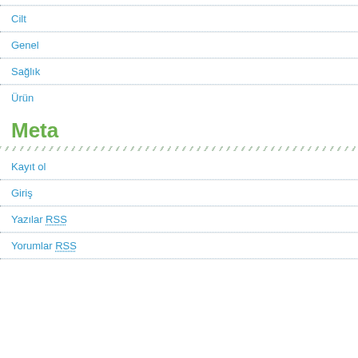Cilt
Genel
Sağlık
Ürün
Meta
Kayıt ol
Giriş
Yazılar RSS
Yorumlar RSS